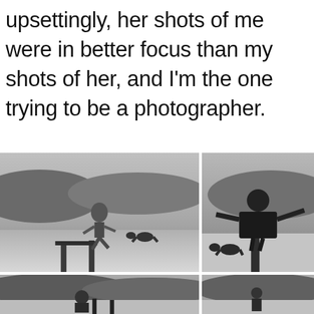upsettingly, her shots of me were in better focus than my shots of her, and I’m the one trying to be a photographer.
[Figure (photo): Black and white photo of a woman running and jumping on a beach with groynes, hills and cloudy sky in background, a dog visible in background]
[Figure (photo): Black and white photo of a man in a large coat balancing on a groyne post on the beach with arms spread wide and a dog beside him, hills in background]
[Figure (photo): Black and white photo of a person crouching on the beach near groynes with hills and cloudy sky]
[Figure (photo): Black and white photo of a person standing on the beach with hills in background]